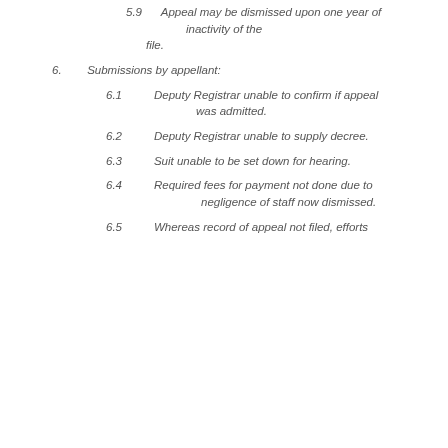5.9   Appeal may be dismissed upon one year of inactivity of the file.
6.   Submissions by appellant:
6.1   Deputy Registrar unable to confirm if appeal was admitted.
6.2   Deputy Registrar unable to supply decree.
6.3   Suit unable to be set down for hearing.
6.4   Required fees for payment not done due to negligence of staff now dismissed.
6.5   Whereas record of appeal not filed, efforts